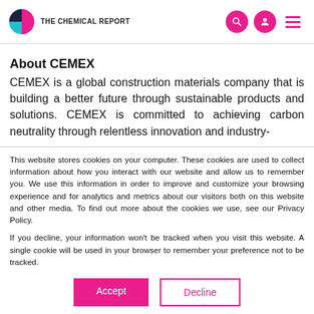THE CHEMICAL REPORT
About CEMEX
CEMEX is a global construction materials company that is building a better future through sustainable products and solutions. CEMEX is committed to achieving carbon neutrality through relentless innovation and industry-
This website stores cookies on your computer. These cookies are used to collect information about how you interact with our website and allow us to remember you. We use this information in order to improve and customize your browsing experience and for analytics and metrics about our visitors both on this website and other media. To find out more about the cookies we use, see our Privacy Policy.
If you decline, your information won't be tracked when you visit this website. A single cookie will be used in your browser to remember your preference not to be tracked.